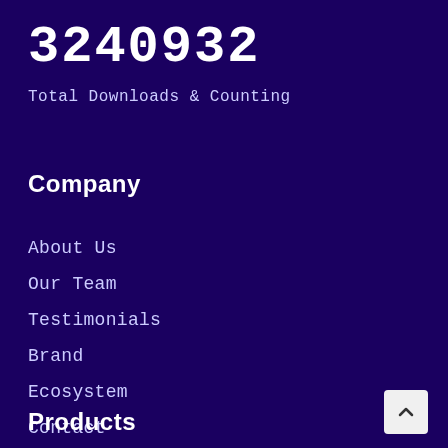3240932
Total Downloads & Counting
Company
About Us
Our Team
Testimonials
Brand
Ecosystem
Contact
Products